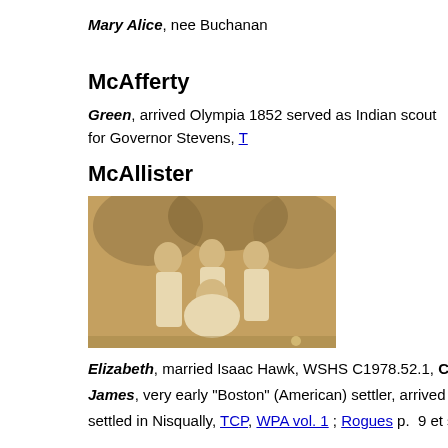Mary Alice, nee Buchanan
McAfferty
Green, arrived Olympia 1852 served as Indian scout for Governor Stevens, T...
McAllister
[Figure (photo): Sepia photograph of a group of people outdoors, appears to be women in white dresses, one seated]
Elizabeth, married Isaac Hawk, WSHS C1978.52.1, C1978.52.4 (elderly wom...
James, very early "Boston" (American) settler, arrived fall 1845 with Simmons...
settled in Nisqually, TCP, WPA vol. 1 ; Rogues p. 9 et seq.
John Wesley, cousin of James
Mary Jane, nee Thomas, married John Wesley before coming to Puget Soun...
[Figure (photo): Black and white photograph of a building structure, partially visible]